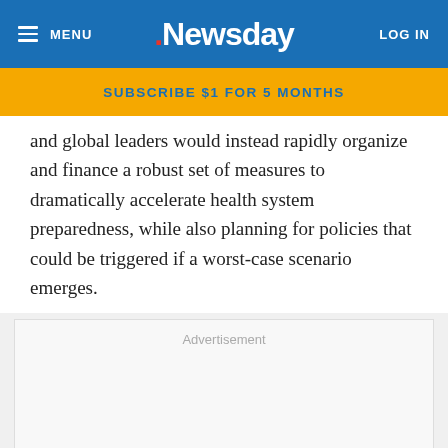MENU | Newsday | LOG IN
SUBSCRIBE $1 FOR 5 MONTHS
and global leaders would instead rapidly organize and finance a robust set of measures to dramatically accelerate health system preparedness, while also planning for policies that could be triggered if a worst-case scenario emerges.
[Figure (other): Advertisement placeholder box]
[Figure (other): Long Island Fair banner advertisement with pastel gradient and fair logo]